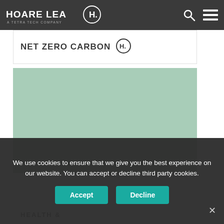HOARE LEA H. A TETRA TECH COMPANY
[Figure (illustration): Partially visible card with large bold uppercase text and a circular icon on the right]
[Figure (photo): Sage/mint green rectangular image placeholder]
HEALTH &
We use cookies to ensure that we give you the best experience on our website. You can accept or decline third party cookies.